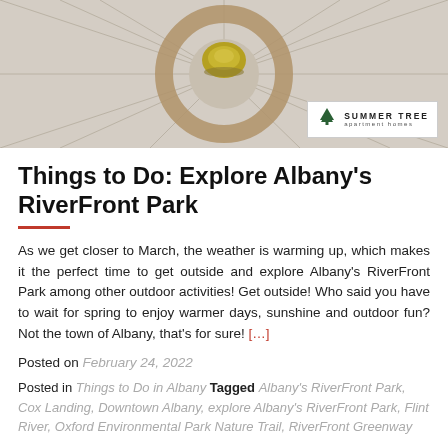[Figure (photo): Interior photo of a circular compass rose floor pattern with a decorative center piece, likely a lobby or public space. Summer Tree Apartment Homes logo overlaid in bottom right corner.]
Things to Do: Explore Albany's RiverFront Park
As we get closer to March, the weather is warming up, which makes it the perfect time to get outside and explore Albany's RiverFront Park among other outdoor activities! Get outside! Who said you have to wait for spring to enjoy warmer days, sunshine and outdoor fun? Not the town of Albany, that's for sure! [...]
Posted on February 24, 2022
Posted in Things to Do in Albany Tagged Albany's RiverFront Park, Cox Landing, Downtown Albany, explore Albany's RiverFront Park, Flint River, Oxford Environmental Park Nature Trail, RiverFront Greenway